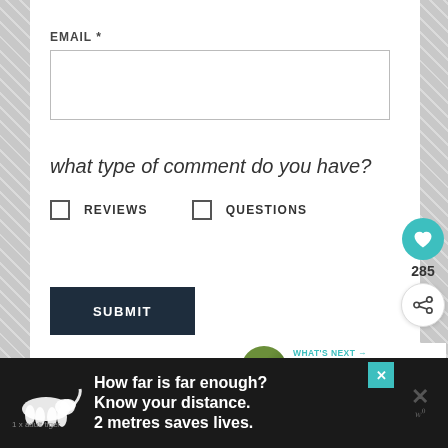EMAIL *
what type of comment do you have?
REVIEWS   QUESTIONS
SUBMIT
285
WHAT'S NEXT → Chicken Caprese wit...
How far is far enough? Know your distance. 2 metres saves lives. 1 x adult tiger